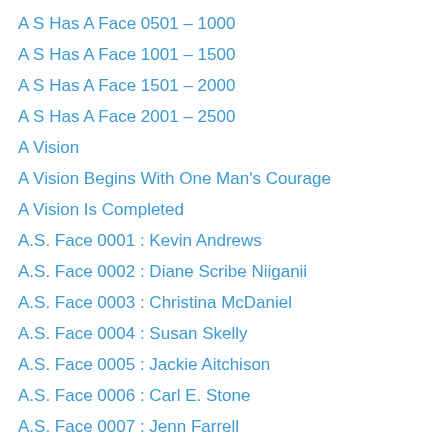A S Has A Face 0501 – 1000
A S Has A Face 1001 – 1500
A S Has A Face 1501 – 2000
A S Has A Face 2001 – 2500
A Vision
A Vision Begins With One Man's Courage
A Vision Is Completed
A.S. Face 0001 : Kevin Andrews
A.S. Face 0002 : Diane Scribe Niiganii
A.S. Face 0003 : Christina McDaniel
A.S. Face 0004 : Susan Skelly
A.S. Face 0005 : Jackie Aitchison
A.S. Face 0006 : Carl E. Stone
A.S. Face 0007 : Jenn Farrell
A.S. Face 0008 : Hedy Francois
A.S. Face 0009 : Jimmy Joaquinn Maneclang
A.S. Face 0010 : LeeAnn Fine
A.S. Face 0011 : Mick Stillwell
A.S. Face 0012 : Rosemary Huff
A.S. Face 0013 : Laura Miller